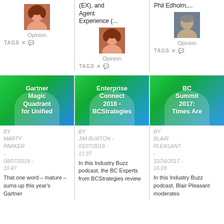(EX), and Agent Experience (...
Phil Edholm,...
[Figure (photo): Woman with red hair, author photo]
[Figure (photo): Woman with red hair, author photo]
[Figure (photo): Older man, author photo]
Opinion
Opinion
Opinion
TAGS
TAGS
TAGS
[Figure (illustration): Green/blue gradient article thumbnail with text: Gartner Magic Quadrant for Unified]
Gartner Magic Quadrant for Unified
BY MARTY PARKER - 08/07/2018 - 10:47
That one word – mature – sums up this year's Gartner
[Figure (illustration): Green/blue gradient article thumbnail with text: Enterprise Connect 2018 - BCStrategies]
Enterprise Connect 2018 - BCStrategies
BY JIM BURTON - 03/27/2018 - 11:37
In this Industry Buzz podcast, the BC Experts from BCStrategies review
[Figure (illustration): Green/blue gradient article thumbnail with text: BC Summit 2017: Times Are]
BC Summit 2017: Times Are
BY BLAIR PLEASANT - 10/26/2017 - 16:28
In this Industry Buzz podcast, Blair Pleasant moderates